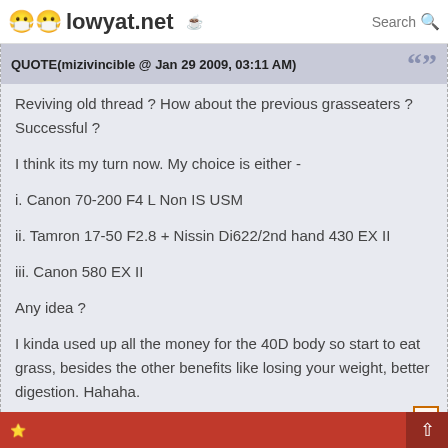lowyat.net
QUOTE(mizivincible @ Jan 29 2009, 03:11 AM)
Reviving old thread ? How about the previous grasseaters ? Successful ?

I think its my turn now. My choice is either -

i. Canon 70-200 F4 L Non IS USM

ii. Tamron 17-50 F2.8 + Nissin Di622/2nd hand 430 EX II

iii. Canon 580 EX II

Any idea ?

I kinda used up all the money for the 40D body so start to eat grass, besides the other benefits like losing your weight, better digestion. Hahaha.
my pick too! help me which one should i go for canon or the tammy.